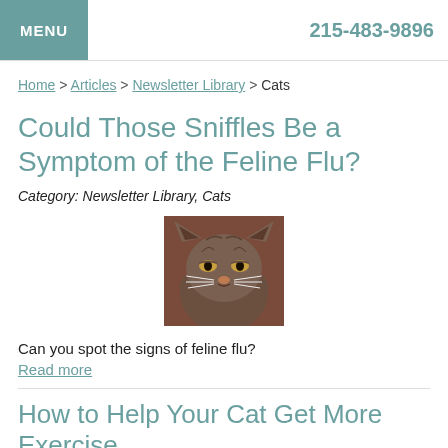MENU  215-483-9896
Home > Articles > Newsletter Library > Cats
Could Those Sniffles Be a Symptom of the Feline Flu?
Category: Newsletter Library, Cats
[Figure (photo): Close-up photo of a fluffy long-haired cat with a slightly grumpy or sniffly expression, brownish fur, against a reddish-brown background]
Can you spot the signs of feline flu?
Read more
How to Help Your Cat Get More Exercise